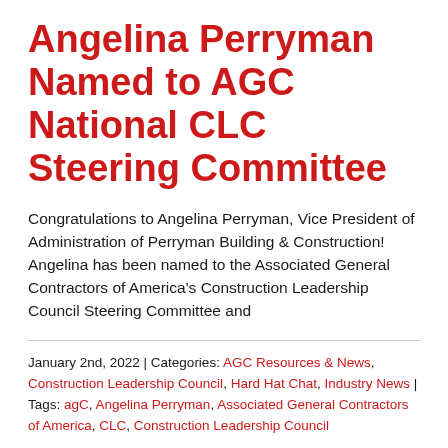Angelina Perryman Named to AGC National CLC Steering Committee
Congratulations to Angelina Perryman, Vice President of Administration of Perryman Building & Construction! Angelina has been named to the Associated General Contractors of America's Construction Leadership Council Steering Committee and
January 2nd, 2022 | Categories: AGC Resources & News, Construction Leadership Council, Hard Hat Chat, Industry News | Tags: agC, Angelina Perryman, Associated General Contractors of America, CLC, Construction Leadership Council